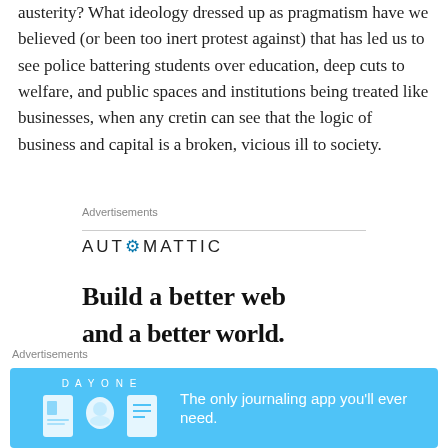austerity? What ideology dressed up as pragmatism have we believed (or been too inert protest against) that has led us to see police battering students over education, deep cuts to welfare, and public spaces and institutions being treated like businesses, when any cretin can see that the logic of business and capital is a broken, vicious ill to society.
Advertisements
[Figure (logo): Automattic logo with gear icon replacing the O]
Build a better web
and a better world.
Advertisements
[Figure (infographic): Day One journaling app advertisement on blue background with icons and text: The only journaling app you'll ever need.]